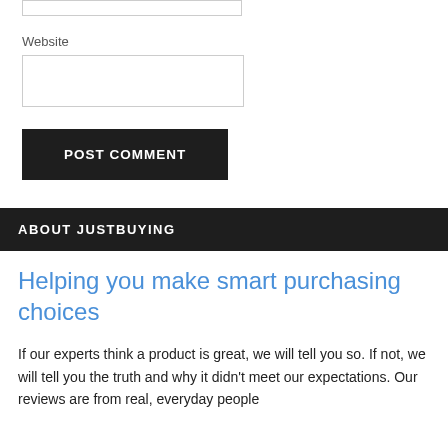[Figure (screenshot): Small text input box at the top, partially visible]
Website
[Figure (screenshot): Website text input box, empty, with border]
POST COMMENT
ABOUT JUSTBUYING
Helping you make smart purchasing choices
If our experts think a product is great, we will tell you so. If not, we will tell you the truth and why it didn't meet our expectations. Our reviews are from real, everyday people